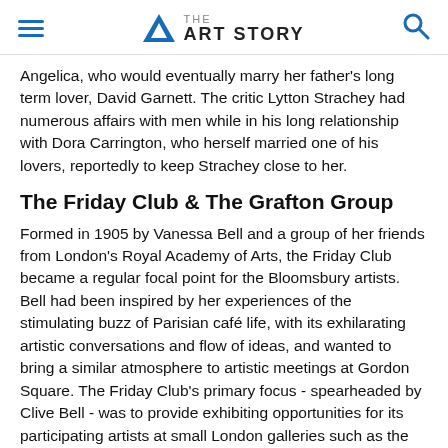THE ART STORY
Angelica, who would eventually marry her father's long term lover, David Garnett. The critic Lytton Strachey had numerous affairs with men while in his long relationship with Dora Carrington, who herself married one of his lovers, reportedly to keep Strachey close to her.
The Friday Club & The Grafton Group
Formed in 1905 by Vanessa Bell and a group of her friends from London's Royal Academy of Arts, the Friday Club became a regular focal point for the Bloomsbury artists. Bell had been inspired by her experiences of the stimulating buzz of Parisian café life, with its exhilarating artistic conversations and flow of ideas, and wanted to bring a similar atmosphere to artistic meetings at Gordon Square. The Friday Club's primary focus - spearheaded by Clive Bell - was to provide exhibiting opportunities for its participating artists at small London galleries such as the